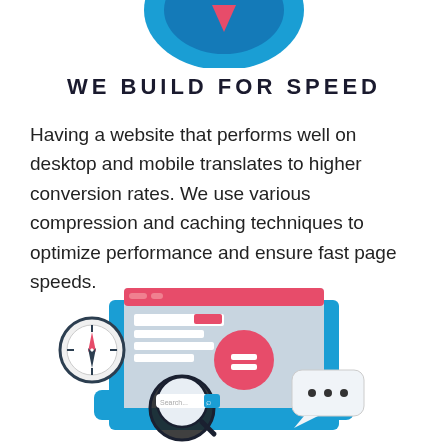[Figure (illustration): Partial top of a speedometer or shield icon in blue, cropped at the top of the page]
WE BUILD FOR SPEED
Having a website that performs well on desktop and mobile translates to higher conversion rates. We use various compression and caching techniques to optimize performance and ensure fast page speeds.
[Figure (illustration): A web/digital marketing illustration showing a laptop/tablet with a browser window, compass rose, magnifying glass with a search bar reading 'Search...', a red circle icon, and a speech bubble with three dots, in blue, grey and red colors]